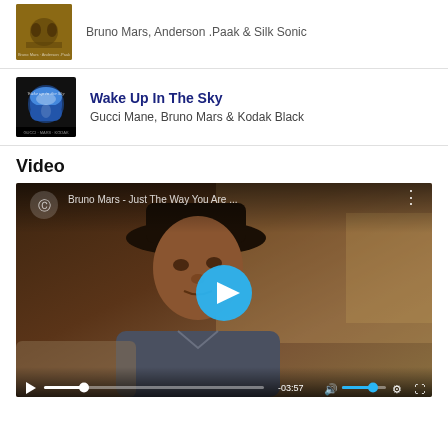[Figure (screenshot): Album art for a Bruno Mars, Anderson .Paak & Silk Sonic song — small square thumbnail]
Bruno Mars, Anderson .Paak & Silk Sonic
[Figure (photo): Album art for Wake Up In The Sky — dark cover with blue sky window]
Wake Up In The Sky
Gucci Mane, Bruno Mars & Kodak Black
Video
[Figure (screenshot): YouTube video player showing Bruno Mars - Just The Way You Are music video. Person wearing a hat visible. Blue play button in center. Controls at bottom showing -03:57 time remaining.]